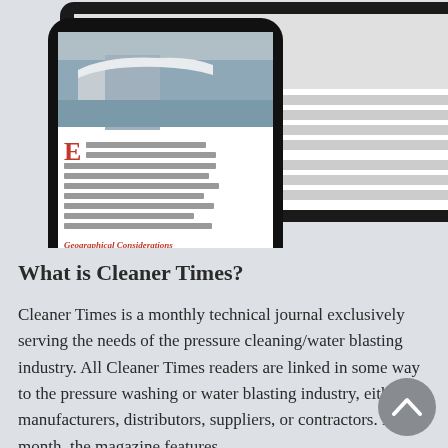[Figure (screenshot): Two overlapping mobile devices (tablet and smartphone) displaying a magazine article page about ice dams, with a photo of a snow-covered building and article text visible on screen.]
What is Cleaner Times?
Cleaner Times is a monthly technical journal exclusively serving the needs of the pressure cleaning/water blasting industry. All Cleaner Times readers are linked in some way to the pressure washing or water blasting industry, either as manufacturers, distributors, suppliers, or contractors. Each month, the magazine features